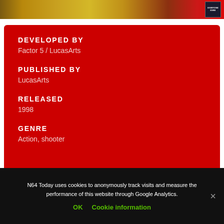[Figure (photo): Top banner image showing a video game box art with golden/orange tones and an ESRB rating badge in the top right corner]
DEVELOPED BY
Factor 5 / LucasArts
PUBLISHED BY
LucasArts
RELEASED
1998
GENRE
Action, shooter
N64 Today uses cookies to anonymously track visits and measure the performance of this website through Google Analytics.
OK   Cookie information